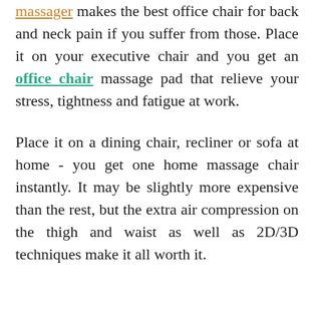massager makes the best office chair for back and neck pain if you suffer from those. Place it on your executive chair and you get an office chair massage pad that relieve your stress, tightness and fatigue at work.
Place it on a dining chair, recliner or sofa at home - you get one home massage chair instantly. It may be slightly more expensive than the rest, but the extra air compression on the thigh and waist as well as 2D/3D techniques make it all worth it.